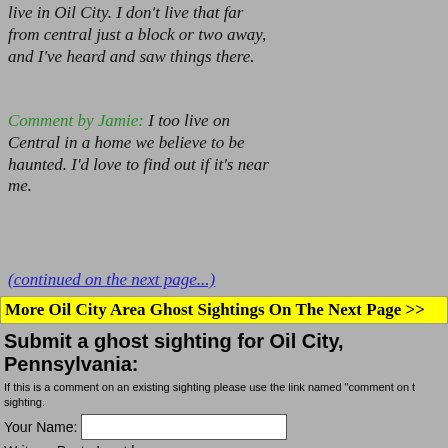live in Oil City. I don't live that far from central just a block or two away, and I've heard and saw things there.
Comment by Jamie: I too live on Central in a home we believe to be haunted. I'd love to find out if it's near me.
(continued on the next page...)
More Oil City Area Ghost Sightings On The Next Page >>
Submit a ghost sighting for Oil City, Pennsylvania:
If this is a comment on an existing sighting please use the link named "comment on t sighting.
Your Name:
Write or Paste Input here: